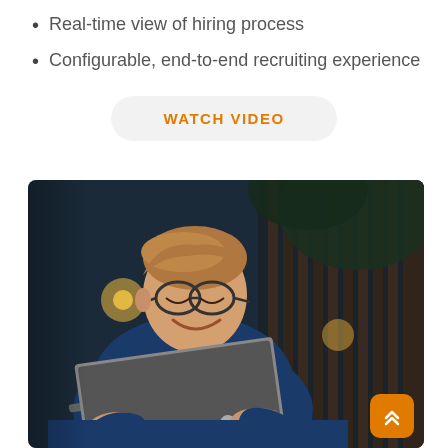Real-time view of hiring process
Configurable, end-to-end recruiting experience
WATCH VIDEO
[Figure (photo): Young man with glasses smiling while using a laptop outdoors, wearing a blue t-shirt, with bokeh background of string lights and wooden slats]